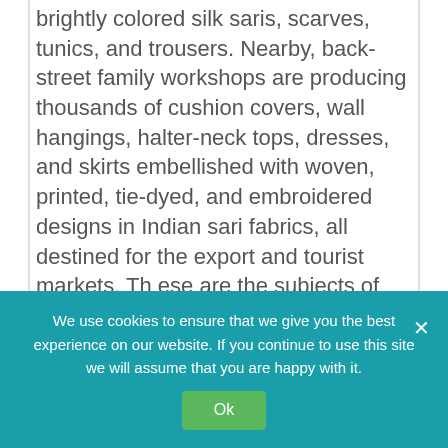brightly colored silk saris, scarves, tunics, and trousers. Nearby, back-street family workshops are producing thousands of cushion covers, wall hangings, halter-neck tops, dresses, and skirts embellished with woven, printed, tie-dyed, and embroidered designs in Indian sari fabrics, all destined for the export and tourist markets. Th ese are the subjects of this research on trans-national material fl ows, but the story goes beyond the production of fashion and furnishings items that li...
We use cookies to ensure that we give you the best experience on our website. If you continue to use this site we will assume that you are happy with it.